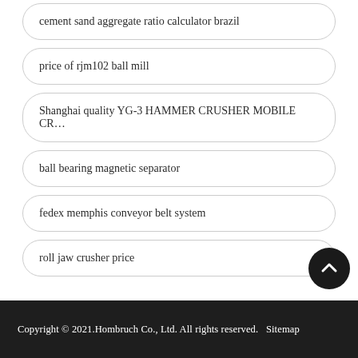cement sand aggregate ratio calculator brazil
price of rjm102 ball mill
Shanghai quality YG-3 HAMMER CRUSHER MOBILE CR...
ball bearing magnetic separator
fedex memphis conveyor belt system
roll jaw crusher price
Copyright © 2021.Hombruch Co., Ltd. All rights reserved.   Sitemap